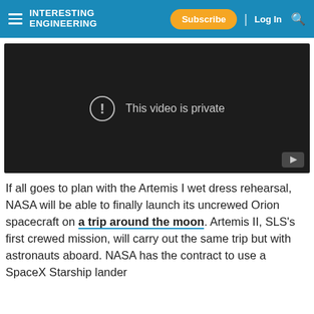Interesting Engineering — Subscribe | Log In
[Figure (screenshot): Embedded video player showing 'This video is private' message with exclamation icon and YouTube logo]
If all goes to plan with the Artemis I wet dress rehearsal, NASA will be able to finally launch its uncrewed Orion spacecraft on a trip around the moon. Artemis II, SLS's first crewed mission, will carry out the same trip but with astronauts aboard. NASA has the contract to use a SpaceX Starship lander...